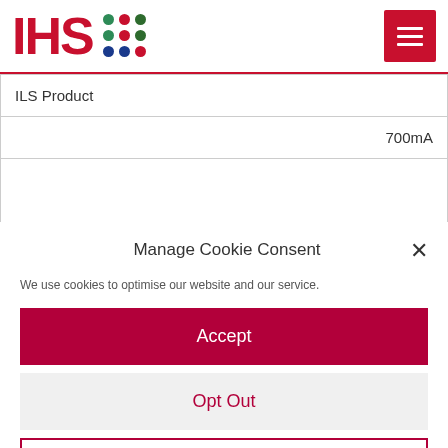[Figure (logo): IHS logo with colored dot grid and hamburger menu button]
| ILS Product |  |
|  | 700mA |
|  |  |
|  | ... |
Manage Cookie Consent
We use cookies to optimise our website and our service.
Accept
Opt Out
Preferences